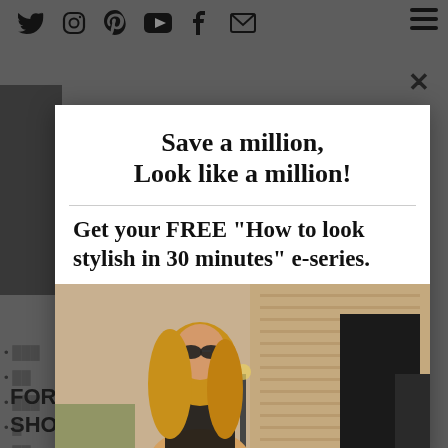Social media icons: Twitter, Instagram, Pinterest, YouTube, Facebook, Email | Hamburger menu
[Figure (screenshot): Popup/modal overlay on a fashion blog webpage. Background shows social icons, bullet list items, and partial text FOR / SHO. Modal contains bold headline 'Save a million, Look like a million!', a horizontal divider, bold text 'Get your FREE "How to look stylish in 30 minutes" e-series.', and a photo of a woman in sunglasses in front of a building.]
Save a million, Look like a million!
Get your FREE "How to look stylish in 30 minutes" e-series.